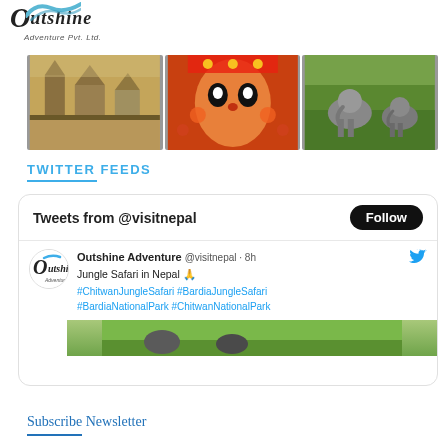[Figure (logo): Outshine Adventure Pvt. Ltd. logo with stylized O and blue wave accent]
[Figure (photo): Three horizontal travel photos: ancient temple square, colorful festival face portrait, elephants in green field]
TWITTER FEEDS
[Figure (screenshot): Twitter feed widget showing 'Tweets from @visitnepal' with a Follow button, and a tweet from Outshine Adventure @visitnepal 8h: 'Jungle Safari in Nepal 🙏 #ChitwanJungleSafari #BardiaJungleSafari #BardiaNationalPark #ChitwanNationalPark' with partial image preview]
Subscribe Newsletter